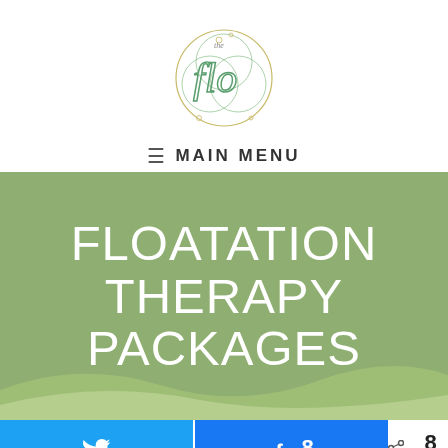[Figure (logo): The Flo spa/wellness logo — stylized 'flo' letters inside overlapping circles with bubbles, gradient green and gold tones]
≡  MAIN MENU
FLOATATION THERAPY PACKAGES
[Figure (infographic): Share bar with Twitter button (blue), Facebook button with count of 8, and total shares count of 8]